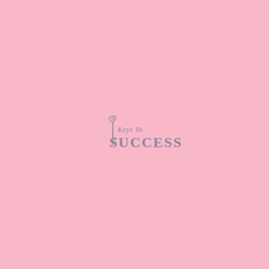[Figure (logo): Key To Success logo with a decorative key graphic on the left and stylized text reading 'Keys To SUCCESS' in silver/gray tones on a pink background.]